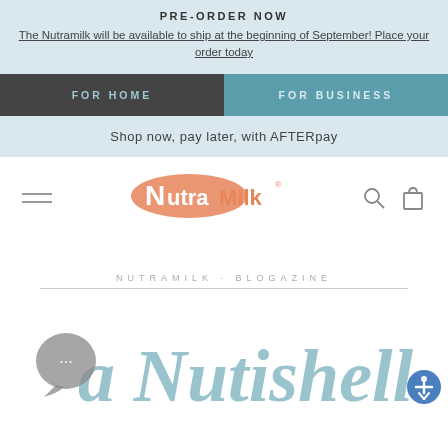PRE-ORDER NOW
The Nutramilk will be available to ship at the beginning of September! Place your order today
FOR HOME
FOR BUSINESS
Shop now, pay later, with AFTERpay
[Figure (logo): NutraMilk brand logo with orange oval and stylized text]
NUTRAMILK · BLOGAZINE
in a Nutishell